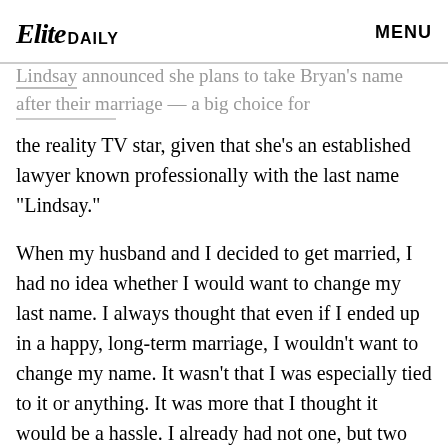Elite DAILY | MENU
Lindsay announced she plans to take Bryan's name after their marriage — a big choice for the reality TV star, given that she's an established lawyer known professionally with the last name "Lindsay."
When my husband and I decided to get married, I had no idea whether I would want to change my last name. I always thought that even if I ended up in a happy, long-term marriage, I wouldn't want to change my name. It wasn't that I was especially tied to it or anything. It was more that I thought it would be a hassle. I already had not one, but two established careers under my maiden name, and I just wasn't sure it was necessary.
Right after we got married, my name was in the...